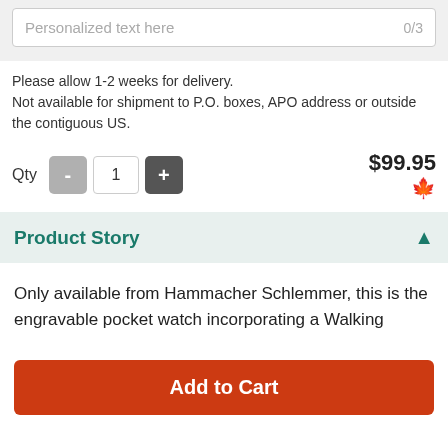Personalized text here 0/3
Please allow 1-2 weeks for delivery.
Not available for shipment to P.O. boxes, APO address or outside the contiguous US.
Qty 1 $99.95
Product Story
Only available from Hammacher Schlemmer, this is the engravable pocket watch incorporating a Walking
Add to Cart